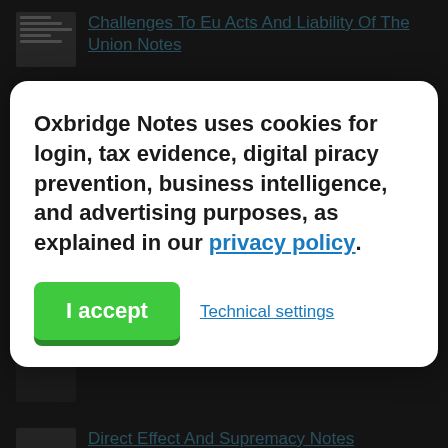Challenges To Eu Acts And Liability Of The Union Notes
Competence Notes
Constitutional Matters Reading Notes
Oxbridge Notes uses cookies for login, tax evidence, digital piracy prevention, business intelligence, and advertising purposes, as explained in our privacy policy.
Direct Effect And Supremacy Notes
Direct Effect And Supremacy Revision Notes